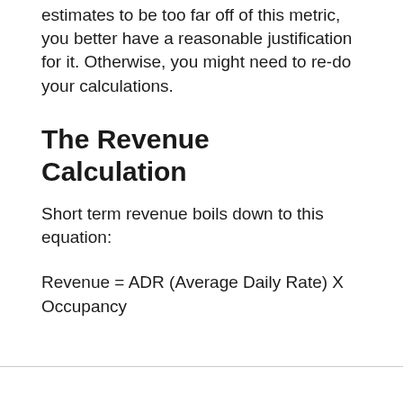estimates to be too far off of this metric, you better have a reasonable justification for it. Otherwise, you might need to re-do your calculations.
The Revenue Calculation
Short term revenue boils down to this equation: